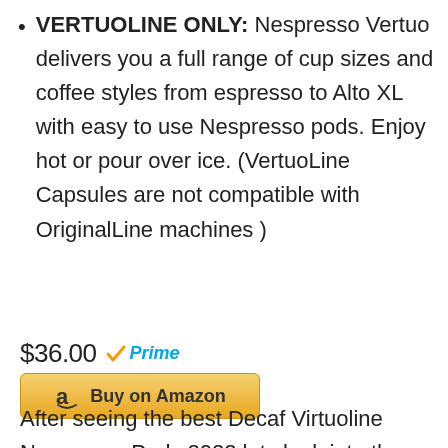VERTUOLINE ONLY: Nespresso Vertuo delivers you a full range of cup sizes and coffee styles from espresso to Alto XL with easy to use Nespresso pods. Enjoy hot or pour over ice. (VertuoLine Capsules are not compatible with OriginalLine machines )
$36.00 Prime
Buy on Amazon
After seeing the best Decaf Virtuoline Nespresso Pods 2022 lets look into the future: